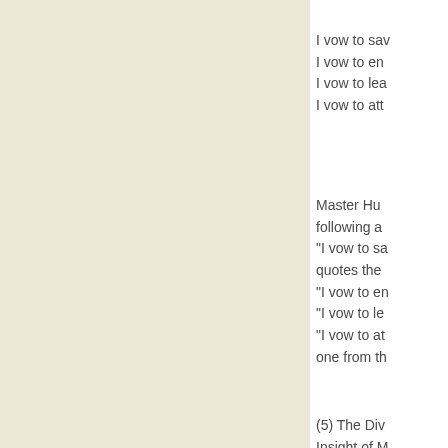I vow to sav...
I vow to en...
I vow to lea...
I vow to att...
Master Hu...
following a...
"I vow to sa...
quotes the...
"I vow to en...
"I vow to le...
"I vow to at...
one from th...
(5) The Div...
Insight of M...